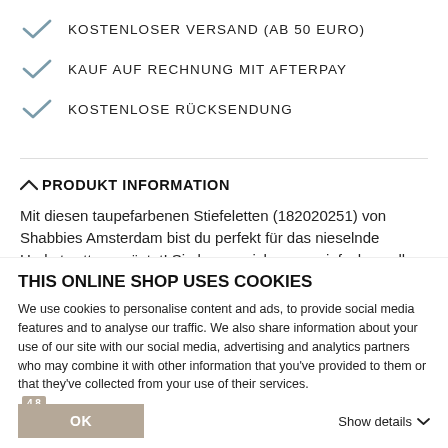KOSTENLOSER VERSAND (AB 50 EURO)
KAUF AUF RECHNUNG MIT AFTERPAY
KOSTENLOSE RÜCKSENDUNG
PRODUKT INFORMATION
Mit diesen taupefarbenen Stiefeletten (182020251) von Shabbies Amsterdam bist du perfekt für das nieselnde Herbstwetter gerüstet! Sie lassen sich super einfach zu allen
THIS ONLINE SHOP USES COOKIES
We use cookies to personalise content and ads, to provide social media features and to analyse our traffic. We also share information about your use of our site with our social media, advertising and analytics partners who may combine it with other information that you've provided to them or that they've collected from your use of their services.
OK
Show details